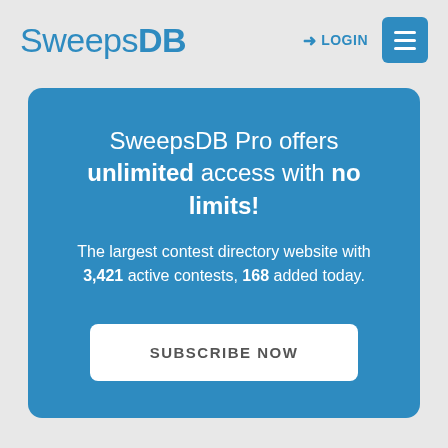SweepsDB
→ LOGIN
SweepsDB Pro offers unlimited access with no limits!
The largest contest directory website with 3,421 active contests, 168 added today.
SUBSCRIBE NOW